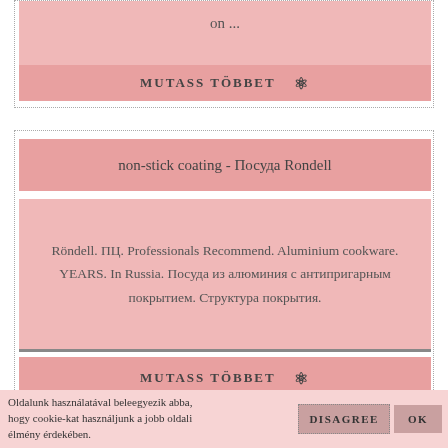on ...
MUTASS TÖBBET 👁
non-stick coating - Посуда Rondell
Röndell. ПЦ. Professionals Recommend. Aluminium cookware. YEARS. In Russia. Посуда из алюминия с антипригарным покрытием. Структура покрытия.
MUTASS TÖBBET 👁
Oldalunk használatával beleegyezik abba, hogy cookie-kat használjunk a jobb oldali élmény érdekében.
DISAGREE
OK